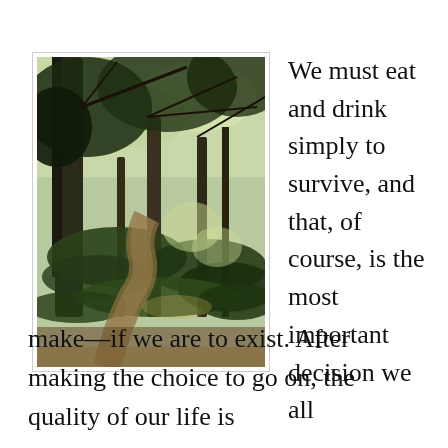[Figure (photo): A forest path winding through lush green trees and shrubs, dappled sunlight filtering through the canopy.]
We must eat and drink simply to survive, and that, of course, is the most important decision we all make—if we are to exist. After making the choice to go on, the quality of our life is